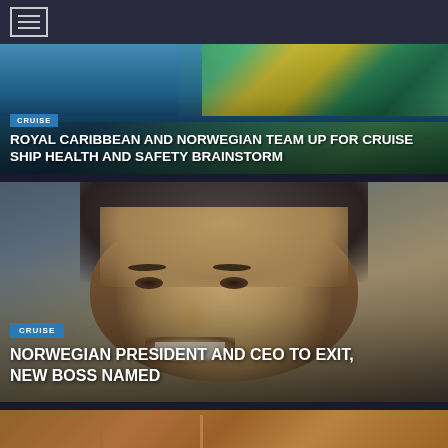Navigation menu bar with hamburger icon
[Figure (photo): Header image of a cruise scene on water with colorful banners in the background]
CRUISE
ROYAL CARIBBEAN AND NORWEGIAN TEAM UP FOR CRUISE SHIP HEALTH AND SAFETY BRAINSTORM
[Figure (photo): Close-up portrait photo of a smiling middle-aged man, the Norwegian Cruise Line President and CEO]
CRUISE
NORWEGIAN PRESIDENT AND CEO TO EXIT, NEW BOSS NAMED
[Figure (photo): Partial view of a third article image, appears to show a construction or port scene with warm orange/brown tones]